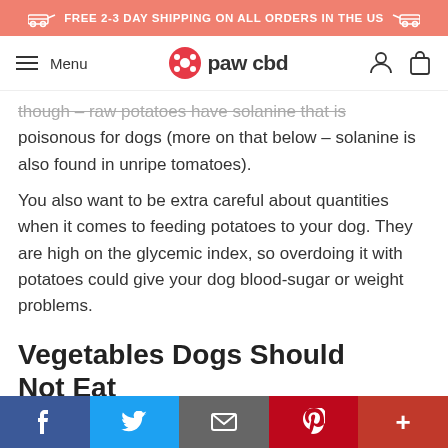FREE 2-3 DAY SHIPPING ON ALL ORDERS IN THE US
[Figure (logo): Paw CBD logo with navigation menu (hamburger icon, Menu text) and user/cart icons]
though – raw potatoes have solanine that is poisonous for dogs (more on that below – solanine is also found in unripe tomatoes).
You also want to be extra careful about quantities when it comes to feeding potatoes to your dog. They are high on the glycemic index, so overdoing it with potatoes could give your dog blood-sugar or weight problems.
Vegetables Dogs Should Not Eat
Social share bar: Facebook, Twitter, Email, Pinterest, More